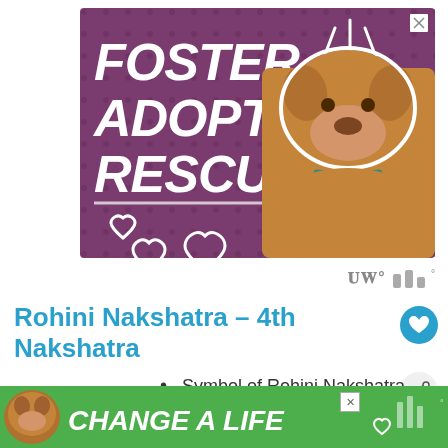[Figure (illustration): Advertisement banner with purple background showing 'FOSTER ADOPT RESCUE' text in bold italic white lettering, decorative heart outlines, ray/slash designs, and a brown pit bull dog photo on the right side]
Rohini Nakshatra – 4th Nakshatra
Symbol of Rohini Nakshatra is Cart
[Figure (illustration): Bottom green advertisement banner showing a dog photo on the left and 'CHANGE A LIFE' text in bold italic white lettering]